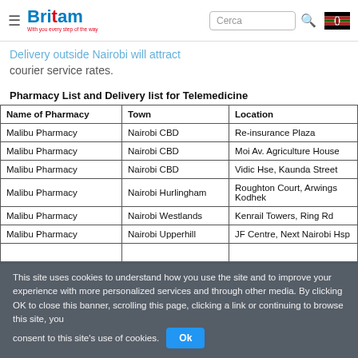Britam - With you every step of the way
Delivery outside Nairobi will attract courier service rates.
Pharmacy List and Delivery list for Telemedicine
| Name of Pharmacy | Town | Location |
| --- | --- | --- |
| Malibu Pharmacy | Nairobi CBD | Re-insurance Plaza |
| Malibu Pharmacy | Nairobi CBD | Moi Av. Agriculture House |
| Malibu Pharmacy | Nairobi CBD | Vidic Hse, Kaunda Street |
| Malibu Pharmacy | Nairobi Hurlingham | Roughton Court, Arwings Kodhek |
| Malibu Pharmacy | Nairobi Westlands | Kenrail Towers, Ring Rd |
| Malibu Pharmacy | Nairobi Upperhill | JF Centre, Next Nairobi Hsp |
This site uses cookies to understand how you use the site and to improve your experience with more personalized services and through other media. By clicking OK to close this banner, scrolling this page, clicking a link or continuing to browse this site, you consent to this site's use of cookies.